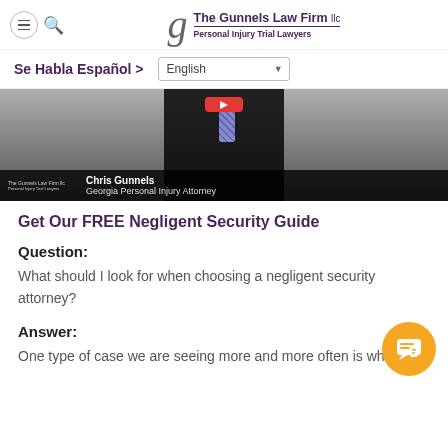The Gunnels Law Firm llc — Personal Injury Trial Lawyers
Se Habla Español >   English
[Figure (photo): Video thumbnail of Chris Gunnels, Georgia Personal Injury Attorney, wearing a dark suit with striped tie. A play button is visible. The Gunnels Law Firm llc logo appears in the lower-left corner of the video frame.]
Get Our FREE Negligent Security Guide
Question:
What should I look for when choosing a negligent security attorney?
Answer:
One type of case we are seeing more and more often is what